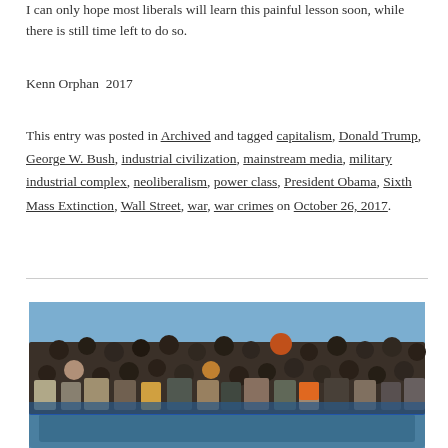I can only hope most liberals will learn this painful lesson soon, while there is still time left to do so.
Kenn Orphan  2017
This entry was posted in Archived and tagged capitalism, Donald Trump, George W. Bush, industrial civilization, mainstream media, military industrial complex, neoliberalism, power class, President Obama, Sixth Mass Extinction, Wall Street, war, war crimes on October 26, 2017.
[Figure (photo): A crowded boat on open water filled with many people, appearing to be migrants or refugees. The boat is blue and sits low in the water. People are densely packed, wearing various clothing and hats.]